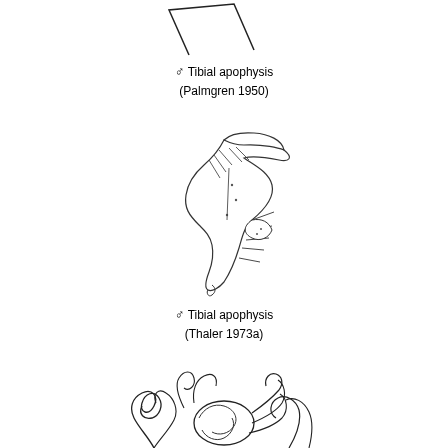[Figure (illustration): Line drawing of male tibial apophysis (Palmgren 1950) - a simple angular/trapezoidal outline shape]
♂ Tibial apophysis (Palmgren 1950)
[Figure (illustration): Detailed line drawing of male tibial apophysis (Thaler 1973a) showing a complex curved spine-like structure with stippling and setae]
♂ Tibial apophysis (Thaler 1973a)
[Figure (illustration): Detailed line drawing of a male palpal bulb showing complex coiled structures with multiple lobes and appendages, partially visible at bottom of page]